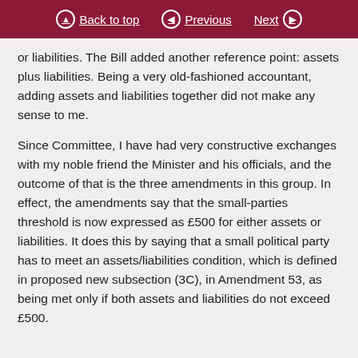Back to top | Previous | Next
or liabilities. The Bill added another reference point: assets plus liabilities. Being a very old-fashioned accountant, adding assets and liabilities together did not make any sense to me.
Since Committee, I have had very constructive exchanges with my noble friend the Minister and his officials, and the outcome of that is the three amendments in this group. In effect, the amendments say that the small-parties threshold is now expressed as £500 for either assets or liabilities. It does this by saying that a small political party has to meet an assets/liabilities condition, which is defined in proposed new subsection (3C), in Amendment 53, as being met only if both assets and liabilities do not exceed £500.